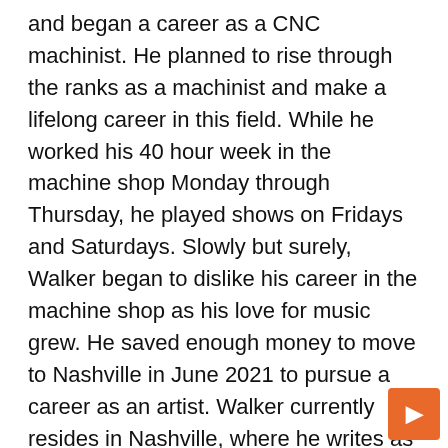and began a career as a CNC machinist. He planned to rise through the ranks as a machinist and make a lifelong career in this field. While he worked his 40 hour week in the machine shop Monday through Thursday, he played shows on Fridays and Saturdays. Slowly but surely, Walker began to dislike his career in the machine shop as his love for music grew. He saved enough money to move to Nashville in June 2021 to pursue a career as an artist. Walker currently resides in Nashville, where he writes as much as he can and plays shows almost every weekend. He just released his debut single “Little Less Here” which is now available on all streaming platforms and he aspires to release more songs this year.